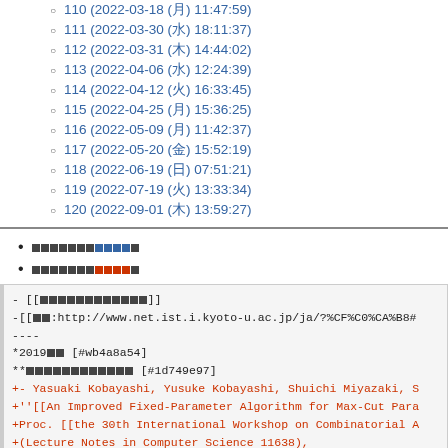110 (2022-03-18 (月) 11:47:59)
111 (2022-03-30 (水) 18:11:37)
112 (2022-03-31 (木) 14:44:02)
113 (2022-04-06 (水) 12:24:39)
114 (2022-04-12 (火) 16:33:45)
115 (2022-04-25 (月) 15:36:25)
116 (2022-05-09 (月) 11:42:37)
117 (2022-05-20 (金) 15:52:19)
118 (2022-06-19 (日) 07:51:21)
119 (2022-07-19 (火) 13:33:34)
120 (2022-09-01 (木) 13:59:27)
■■■■■■■■■■■■
■■■■■■■■■■■■
- [[■■■■■■■■■■■■]]
- [[■■:http://www.net.ist.i.kyoto-u.ac.jp/ja/?%CF%C0%CA%B8#...]]
----
*2019年度  [#wb4a8a54]
**■■■■■■■■■■■■  [#1d749e97]
+- Yasuaki Kobayashi, Yusuke Kobayashi, Shuichi Miyazaki, S...
+''[[An Improved Fixed-Parameter Algorithm for Max-Cut Para...
+Proc. [[the 30th International Workshop on Combinatorial A...
+(Lecture Notes in Computer Science 11638),
+pp. 327-338, July 2019. (Pisa, Italy)
 - Yasuaki Kobayashi, Yusuke Kobayashi, Shuichi Miyazaki, S...